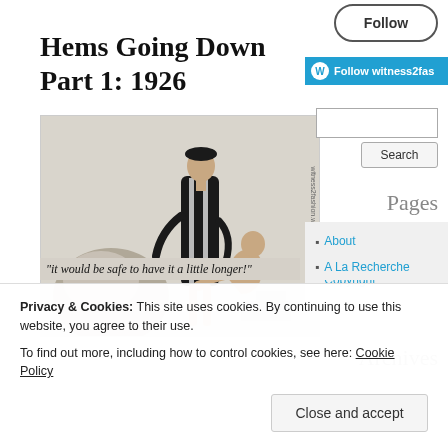Hems Going Down Part 1: 1926
[Figure (illustration): Black and white fashion illustration showing a tall woman standing in a striped dress while a kneeling figure adjusts her hemline. A hat form visible in the lower left. Watermark text visible along right edge: witness2fashion.wordpress.com]
Follow
Follow witness2fas
Search
Pages
About
Policies & Copyright
Archives
A La Recherche
it would be safe to have it a little longer!
Privacy & Cookies: This site uses cookies. By continuing to use this website, you agree to their use.
To find out more, including how to control cookies, see here: Cookie Policy
Close and accept